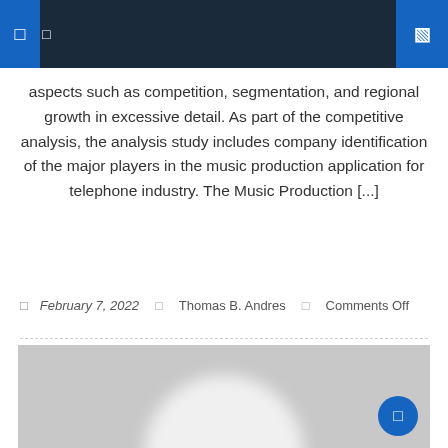aspects such as competition, segmentation, and regional growth in excessive detail. As part of the competitive analysis, the analysis study includes company identification of the major players in the music production application for telephone industry. The Music Production [...]
February 7, 2022  Thomas B. Andres  Comments Off
[Figure (photo): Gray placeholder image with a blurred white oval/silhouette shape in the center, resembling a default user avatar placeholder.]